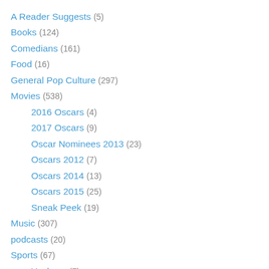A Reader Suggests (5)
Books (124)
Comedians (161)
Food (16)
General Pop Culture (297)
Movies (538)
2016 Oscars (4)
2017 Oscars (9)
Oscar Nominees 2013 (23)
Oscars 2012 (7)
Oscars 2014 (13)
Oscars 2015 (25)
Sneak Peek (19)
Music (307)
podcasts (20)
Sports (67)
Yankees (7)
Television (489)
Theater (220)